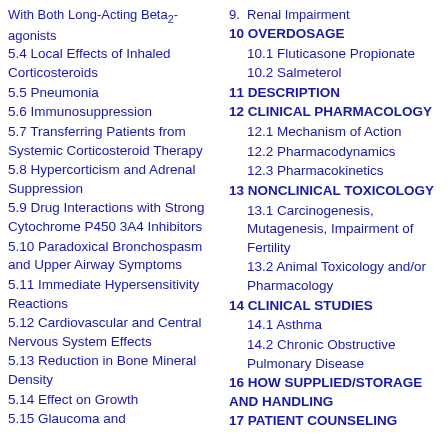5.4 Local Effects of Inhaled Corticosteroids
5.5 Pneumonia
5.6 Immunosuppression
5.7 Transferring Patients from Systemic Corticosteroid Therapy
5.8 Hypercorticism and Adrenal Suppression
5.9 Drug Interactions with Strong Cytochrome P450 3A4 Inhibitors
5.10 Paradoxical Bronchospasm and Upper Airway Symptoms
5.11 Immediate Hypersensitivity Reactions
5.12 Cardiovascular and Central Nervous System Effects
5.13 Reduction in Bone Mineral Density
5.14 Effect on Growth
5.15 Glaucoma and
10 OVERDOSAGE
10.1 Fluticasone Propionate
10.2 Salmeterol
11 DESCRIPTION
12 CLINICAL PHARMACOLOGY
12.1 Mechanism of Action
12.2 Pharmacodynamics
12.3 Pharmacokinetics
13 NONCLINICAL TOXICOLOGY
13.1 Carcinogenesis, Mutagenesis, Impairment of Fertility
13.2 Animal Toxicology and/or Pharmacology
14 CLINICAL STUDIES
14.1 Asthma
14.2 Chronic Obstructive Pulmonary Disease
16 HOW SUPPLIED/STORAGE AND HANDLING
17 PATIENT COUNSELING